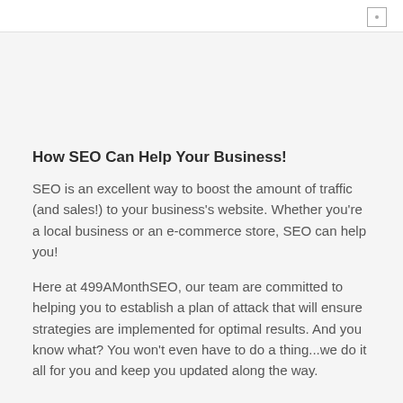How SEO Can Help Your Business!
SEO is an excellent way to boost the amount of traffic (and sales!) to your business’s website. Whether you’re a local business or an e-commerce store, SEO can help you!
Here at 499AMonthSEO, our team are committed to helping you to establish a plan of attack that will ensure strategies are implemented for optimal results. And you know what? You won’t even have to do a thing…we do it all for you and keep you updated along the way.